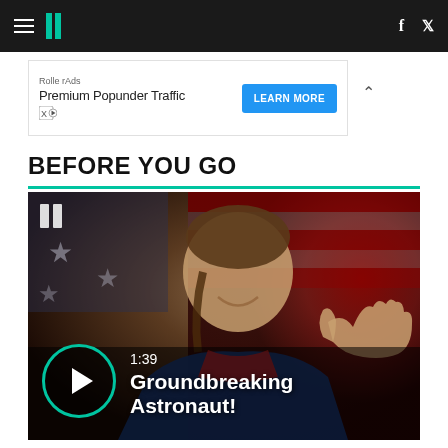HuffPost navigation bar with hamburger menu, HuffPost logo, Facebook and Twitter icons
[Figure (screenshot): Advertisement banner: RollerAds - Premium Popunder Traffic with LEARN MORE button]
BEFORE YOU GO
[Figure (photo): Video thumbnail showing a female astronaut in a blue NASA flight suit giving a thumbs up in front of an American flag. Overlaid with HuffPost logo watermark, play button circle, duration 1:39, and title 'Groundbreaking Astronaut!']